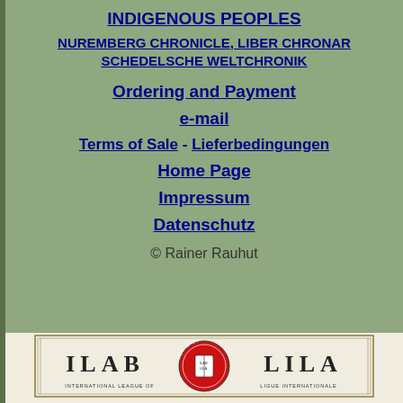INDIGENOUS PEOPLES
NUREMBERG CHRONICLE, LIBER CHRONARUM, SCHEDELSCHE WELTCHRONIK
Ordering and Payment
e-mail
Terms of Sale - Lieferbedingungen
Home Page
Impressum
Datenschutz
© Rainer Rauhut
[Figure (logo): ILAB LILA International League of Antiquarian Booksellers / Ligue Internationale logo with red circular emblem in center]